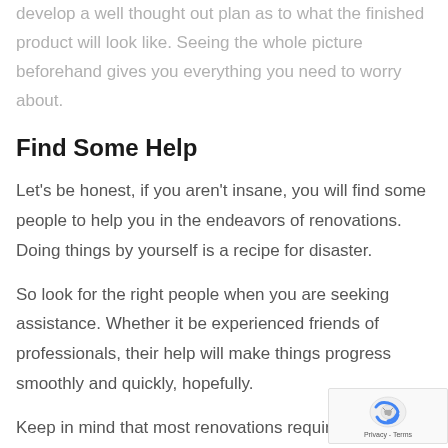develop a well thought out plan as to what the finished product will look like. Seeing the whole picture beforehand gives you everything you need to worry about.
Find Some Help
Let's be honest, if you aren't insane, you will find some people to help you in the endeavors of renovations. Doing things by yourself is a recipe for disaster.
So look for the right people when you are seeking assistance. Whether it be experienced friends of professionals, their help will make things progress smoothly and quickly, hopefully.
Keep in mind that most renovations require a fair budget, and you re making